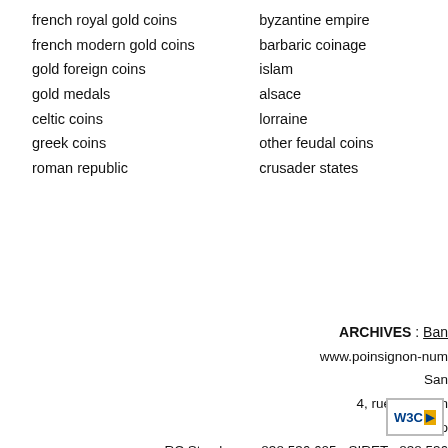french royal gold coins
french modern gold coins
gold foreign coins
gold medals
celtic coins
greek coins
roman republic
byzantine empire
barbaric coinage
islam
alsace
lorraine
other feudal coins
crusader states
ARCHIVES : Ban
www.poinsignon-num
San
4, rue des Fran
Pho
RC Strasbourg: 838 536 605 - SIRET : 838 536
Directeur d
Décl
Email : contac
copyright©poinsig
[Figure (logo): W3C badge/logo in gold and blue]